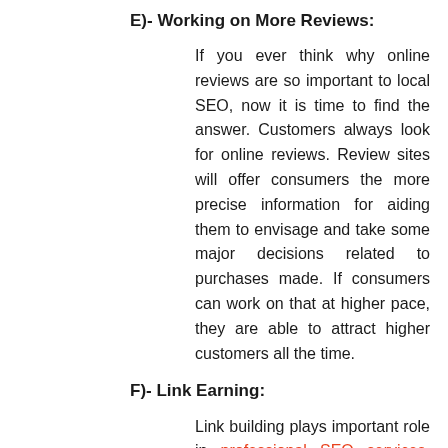E)- Working on More Reviews:
If you ever think why online reviews are so important to local SEO, now it is time to find the answer. Customers always look for online reviews. Review sites will offer consumers the more precise information for aiding them to envisage and take some major decisions related to purchases made. If consumers can work on that at higher pace, they are able to attract higher customers all the time.
F)- Link Earning:
Link building plays important role in professional SEO services. Linking to